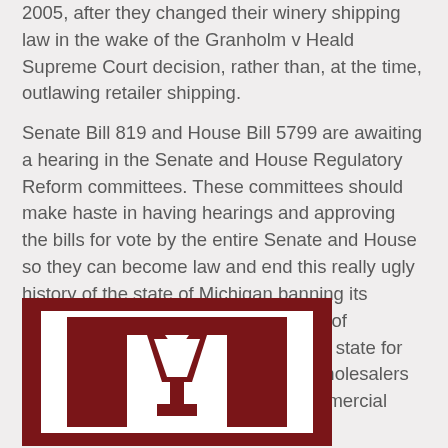2005, after they changed their winery shipping law in the wake of the Granholm v Heald Supreme Court decision, rather than, at the time, outlawing retailer shipping.
Senate Bill 819 and House Bill 5799 are awaiting a hearing in the Senate and House Regulatory Reform committees. These committees should make haste in having hearings and approving the bills for vote by the entire Senate and House so they can become law and end this really ugly history of the state of Michigan banning its citizens from accessing the hundreds of thousands of wine not available in the state for the purpose of protecting Michigan wholesalers from having to compete on a fair commercial playing field.
[Figure (logo): Dark red/maroon bordered logo with white inner area showing a stylized wine glass or goblet shape in dark red on white background]